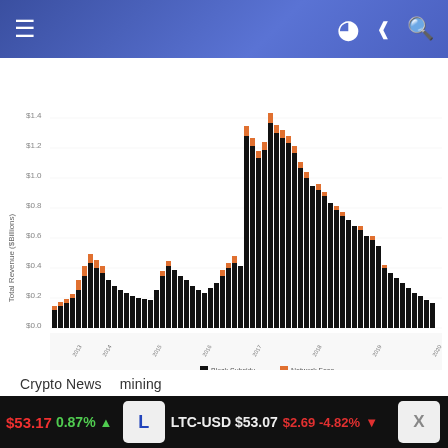≡  ) ≪ 🔍
[Figure (bar-chart): Grouped bar chart showing Bitcoin mining total revenue over time with black bars (block subsidy) and orange bars (network fees). Revenue peaks visible around 2017-2018 bull market period.]
Crypto News   mining
These Six Mining Charts Illustrate The Bitcoin Bear Market
[Figure (infographic): Bitcoin Magazine advertisement banner with cyan/blue background showing Bitcoin Magazine logo and close button]
[Figure (infographic): Binance advertisement dark background with text 'Join the fastest growing' in yellow italic text]
$53.17 0.87% ▲   LTC-USD $53.07 $2.69 -4.82% ▼